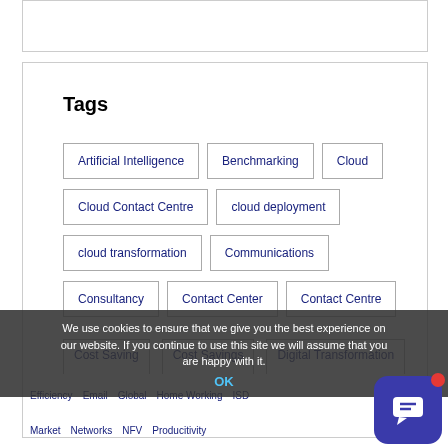Tags
Artificial Intelligence
Benchmarking
Cloud
Cloud Contact Centre
cloud deployment
cloud transformation
Communications
Consultancy
Contact Center
Contact Centre
Cost Saving
Cost Savings
Digital Transformation
Efficiency
Email
Global
Home Working
ISD
Market
Networks
NFV
Producitivity
We use cookies to ensure that we give you the best experience on our website. If you continue to use this site we will assume that you are happy with it.
OK